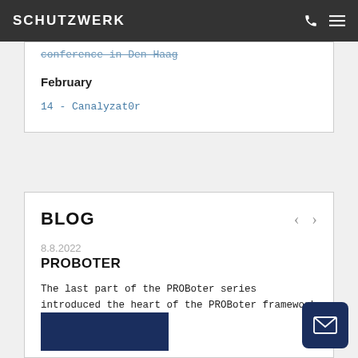SCHUTZWERK
conference in Den Haag
February
14 - Canalyzat0r
BLOG
8.8.2022
PROBOTER
The last part of the PROBoter series introduced the heart of the PROBoter framework - the hardware p...